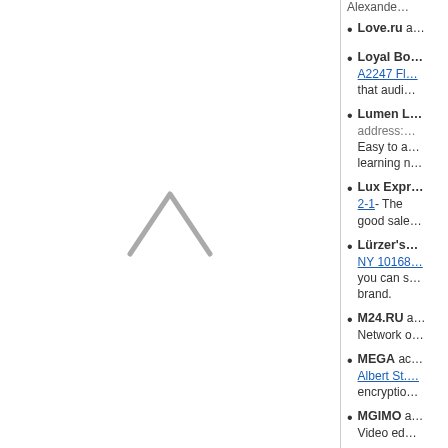[Figure (other): Up arrow chevron icon in the left panel]
Alexander…
Love.ru a…
Loyal Bo… A2247 Fl… that audi…
Lumen L… address:… Easy to a… learning n…
Lux Expr… 2-1- The good sale…
Lürzer's… NY 10168… you can s… brand.
M24.RU a… Network o…
MEGA ac… Albert St.… encryptio…
MGIMO a… Video ed…
MIT Oper… Ave, MA…